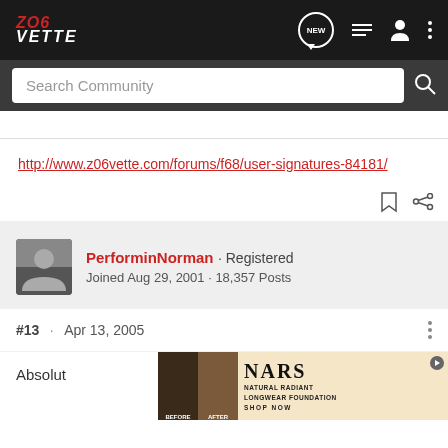Z06 VETTE [NEW] [list icon] [user icon] [more icon]
Search Community
http://www.z06vette.com/forums/f68/user-signatures-84181/
PerforminNorman · Registered
Joined Aug 29, 2001 · 18,357 Posts
#13 · Apr 13, 2005
Absolut
[Figure (photo): Advertisement for NARS Natural Radiant Longwear Foundation showing before/after face comparison]